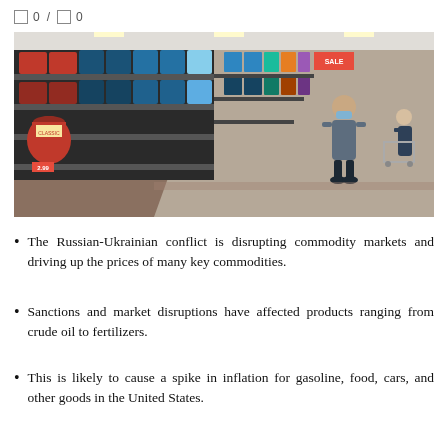0 / 0
[Figure (photo): Interior of a grocery store aisle showing shelves stocked with pasta, sauces, and other food products. A shopper wearing a mask is browsing products in the background.]
The Russian-Ukrainian conflict is disrupting commodity markets and driving up the prices of many key commodities.
Sanctions and market disruptions have affected products ranging from crude oil to fertilizers.
This is likely to cause a spike in inflation for gasoline, food, cars, and other goods in the United States.